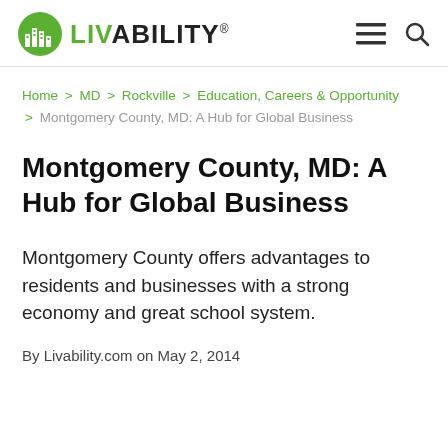LIVABILITY
Home > MD > Rockville > Education, Careers & Opportunity > Montgomery County, MD: A Hub for Global Business
Montgomery County, MD: A Hub for Global Business
Montgomery County offers advantages to residents and businesses with a strong economy and great school system.
By Livability.com on May 2, 2014